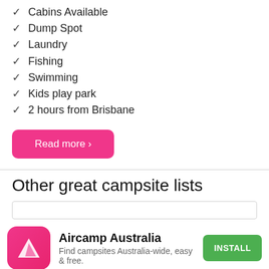✓ Cabins Available
✓ Dump Spot
✓ Laundry
✓ Fishing
✓ Swimming
✓ Kids play park
✓ 2 hours from Brisbane
Read more ›
Other great campsite lists
[Figure (other): App banner for Aircamp Australia with app icon, name, description, and install button]